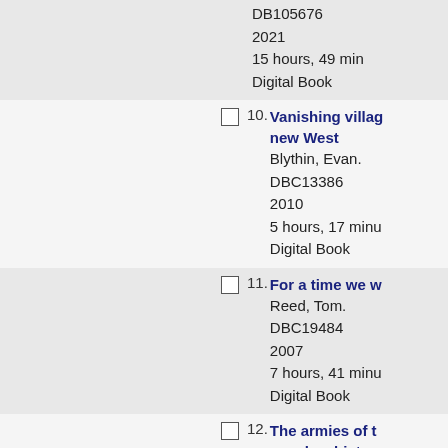DB105676
2021
15 hours, 49 min
Digital Book
10. Vanishing village / new West
Blythin, Evan.
DBC13386
2010
5 hours, 17 minutes
Digital Book
11. For a time we w...
Reed, Tom.
DBC19484
2007
7 hours, 41 minutes
Digital Book
12. The armies of t... / novel as histor...